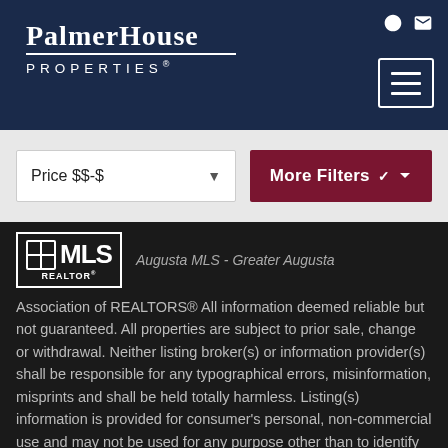[Figure (logo): PalmerHouse Properties logo in white on dark navy header]
Price $$-$
More Filters
[Figure (logo): REALTOR MLS logo box]
Augusta MLS - Greater Augusta
Association of REALTORS® All information deemed reliable but not guaranteed. All properties are subject to prior sale, change or withdrawal. Neither listing broker(s) or information provider(s) shall be responsible for any typographical errors, misinformation, misprints and shall be held totally harmless. Listing(s) information is provided for consumer's personal, non-commercial use and may not be used for any purpose other than to identify prospective properties
Show More...